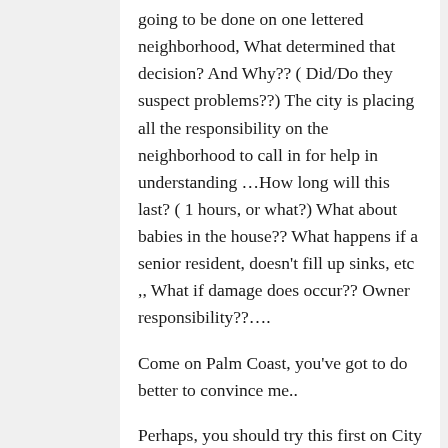going to be done on one lettered neighborhood, What determined that decision? And Why?? ( Did/Do they suspect problems??) The city is placing all the responsibility on the neighborhood to call in for help in understanding …How long will this last? ( 1 hours, or what?) What about babies in the house?? What happens if a senior resident, doesn't fill up sinks, etc ,, What if damage does occur?? Owner responsibility??….
Come on Palm Coast, you've got to do better to convince me..
Perhaps, you should try this first on City property